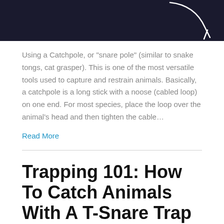[Figure (photo): Dark background image with a white curved line/hook shape visible in the upper right corner]
Using a Catchpole, or “snare pole” (similar to snake tongs, cat grasper). This is one of the most versatile tools used to capture and restrain animals. Basically, a catchpole is a long stick with a noose (cabled loop) on one end. For most species, place the loop over the animal’s head and then tighten the cable…
Read More
Trapping 101: How To Catch Animals With A T-Snare Trap
By grandpastradin | May 30, 2017 | 8,871